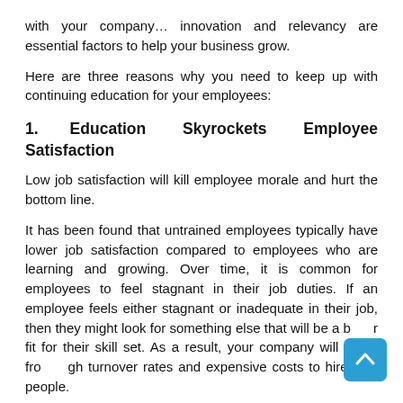with your company… innovation and relevancy are essential factors to help your business grow.
Here are three reasons why you need to keep up with continuing education for your employees:
1.    Education    Skyrockets    Employee Satisfaction
Low job satisfaction will kill employee morale and hurt the bottom line.
It has been found that untrained employees typically have lower job satisfaction compared to employees who are learning and growing. Over time, it is common for employees to feel stagnant in their job duties. If an employee feels either stagnant or inadequate in their job, then they might look for something else that will be a better fit for their skill set. As a result, your company will suffer from high turnover rates and expensive costs to hire new people.
In comparison, ongoing training helps to boost productivity and